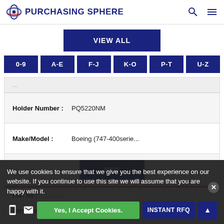PURCHASING SPHERE
VIEW ALL
0-9 | A-E | F-J | K-O | P-T | U-Z
| Holder Number : | PQ5220NM |
| Make/Model : | Boeing (747-400serie... |
| RFQ |  |
Part No : (partially visible)
Part Name : Seat Power Control U...
We use cookies to ensure that we give you the best experience on our website. If you continue to use this site we will assume that you are happy with it.
Yes, I Accept Cookies.
INSTANT RFQ